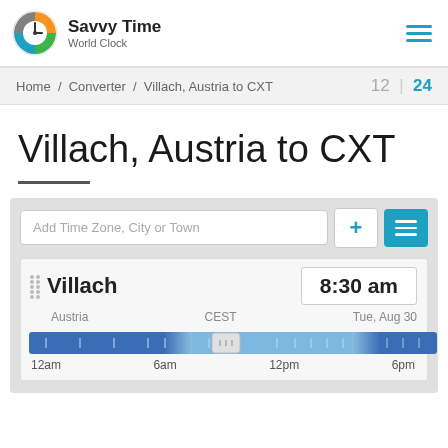Savvy Time World Clock
Home / Converter / Villach, Austria to CXT   12 | 24
Villach, Austria to CXT
Add Time Zone, City or Town
Villach   8:30 am   Austria   CEST   Tue, Aug 30
[Figure (infographic): Timeline bar showing 24-hour day with night (dark blue) and day (light blue) segments, a draggable handle positioned around 8:30am, with labels 12am, 6am, 12pm, 6pm]